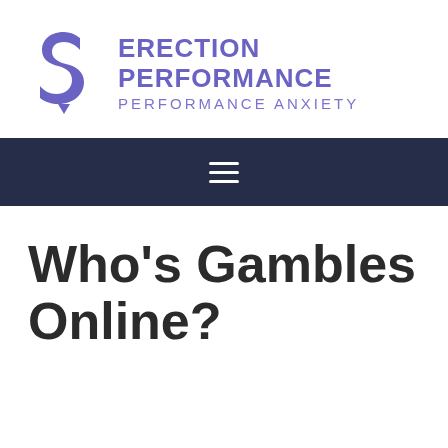[Figure (logo): Erection Performance Performance Anxiety website logo with stylized S-shaped figure in purple and bold purple text]
≡
Who's Gambles Online?